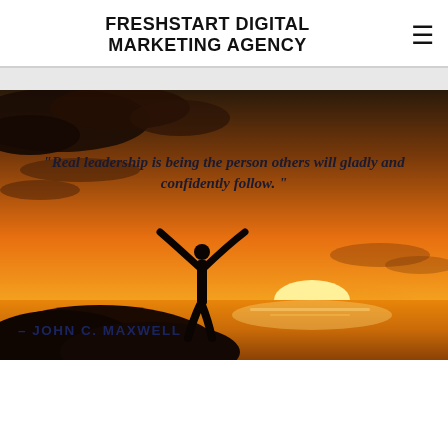FRESHSTART DIGITAL MARKETING AGENCY
[Figure (photo): Silhouette of a person standing on a rocky outcrop with arms raised wide against a dramatic orange and golden sunset sky over water. A motivational quote is overlaid: "Real leadership is being the person others will gladly and confidently follow." attributed to JOHN C. MAXWELL.]